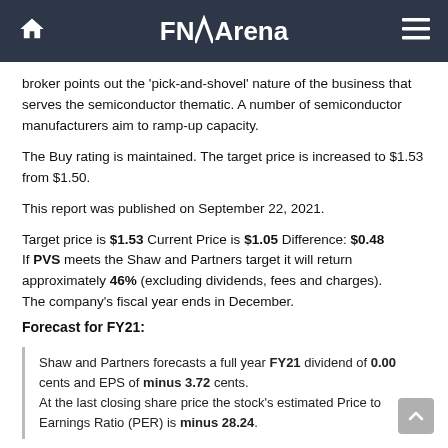FNArena
broker points out the 'pick-and-shovel' nature of the business that serves the semiconductor thematic. A number of semiconductor manufacturers aim to ramp-up capacity.
The Buy rating is maintained. The target price is increased to $1.53 from $1.50.
This report was published on September 22, 2021.
Target price is $1.53 Current Price is $1.05 Difference: $0.48 If PVS meets the Shaw and Partners target it will return approximately 46% (excluding dividends, fees and charges). The company's fiscal year ends in December.
Forecast for FY21:
Shaw and Partners forecasts a full year FY21 dividend of 0.00 cents and EPS of minus 3.72 cents. At the last closing share price the stock's estimated Price to Earnings Ratio (PER) is minus 28.24.